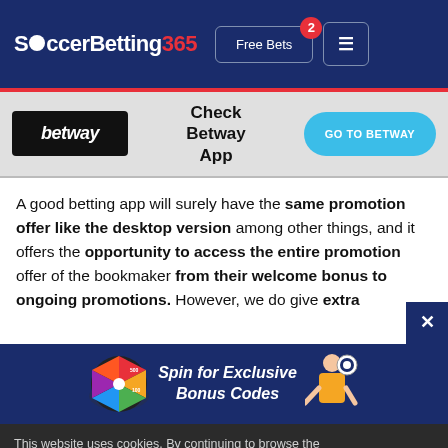SoccerBetting365 | Free Bets
[Figure (logo): Betway logo and Check Betway App CTA banner with GO TO BETWAY button]
A good betting app will surely have the same promotion offer like the desktop version among other things, and it offers the opportunity to access the entire promotion offer of the bookmaker from their welcome bonus to ongoing promotions. However, we do give extra
[Figure (infographic): Spin for Exclusive Bonus Codes promotional banner with spinning wheel and woman with soccer ball]
This website uses cookies. By continuing to browse the site, you are agreeing to our use of cookies